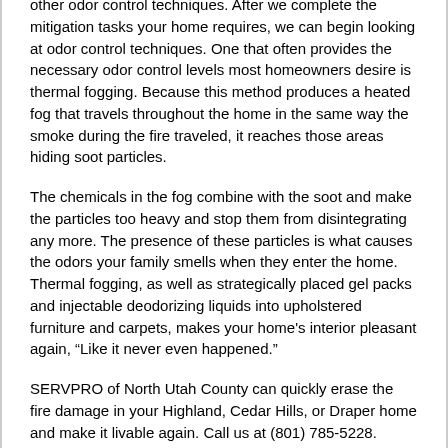other odor control techniques. After we complete the mitigation tasks your home requires, we can begin looking at odor control techniques. One that often provides the necessary odor control levels most homeowners desire is thermal fogging. Because this method produces a heated fog that travels throughout the home in the same way the smoke during the fire traveled, it reaches those areas hiding soot particles.
The chemicals in the fog combine with the soot and make the particles too heavy and stop them from disintegrating any more. The presence of these particles is what causes the odors your family smells when they enter the home. Thermal fogging, as well as strategically placed gel packs and injectable deodorizing liquids into upholstered furniture and carpets, makes your home’s interior pleasant again, “Like it never even happened.”
SERVPRO of North Utah County can quickly erase the fire damage in your Highland, Cedar Hills, or Draper home and make it livable again. Call us at (801) 785-5228.
Click here to find more information on how to enter to win Nice Placement Score